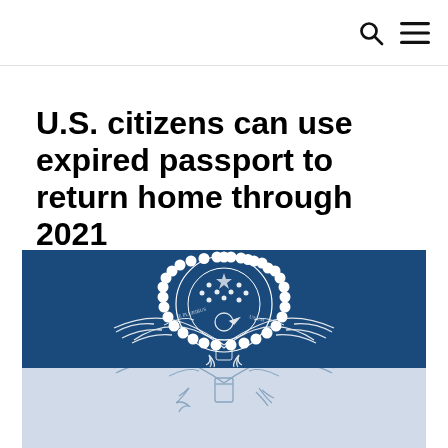U.S. citizens can use expired passport to return home through 2021
By Alejandro Zúñiga  May 25, 2021
[Figure (illustration): U.S. Department of State seal / Great Seal of the United States on a blue background, partially visible, fading into a light blue-grey at the bottom.]